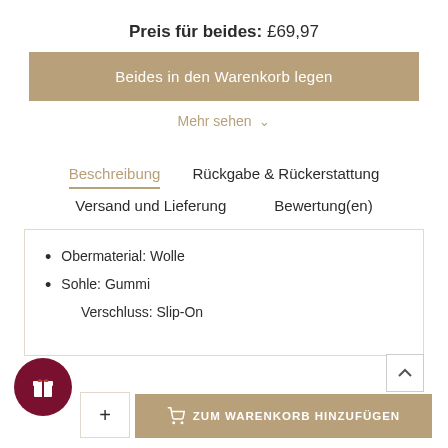Preis für beides: £69,97
Beides in den Warenkorb legen
Mehr sehen ∨
Beschreibung
Rückgabe & Rückerstattung
Versand und Lieferung
Bewertung(en)
Obermaterial: Wolle
Sohle: Gummi
Verschluss: Slip-On
ZUM WARENKORB HINZUFÜGEN